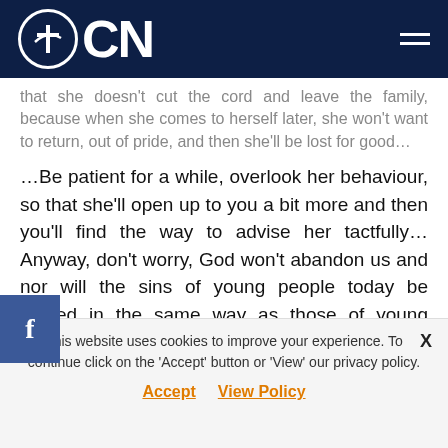OCN
that she doesn't cut the cord and leave the family, because when she comes to herself later, she won't want to return, out of pride, and then she'll be lost for good…
…Be patient for a while, overlook her behaviour, so that she'll open up to you a bit more and then you'll find the way to advise her tactfully… Anyway, don't worry, God won't abandon us and nor will the sins of young people today be judged in the same way as those of young people in our time.
Pray as I will, and our good God will help your child and all
This website uses cookies to improve your experience. To continue click on the 'Accept' button or 'View' our privacy policy.